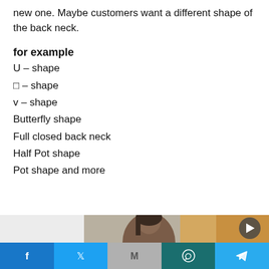new one. Maybe customers want a different shape of the back neck.
for example
U – shape
□ – shape
v – shape
Butterfly shape
Full closed back neck
Half Pot shape
Pot shape and more
[Figure (photo): Photo of a woman, partially visible, with warm background lighting and a play button overlay in the top right corner]
Facebook | Twitter | Gmail | WhatsApp | Telegram share buttons